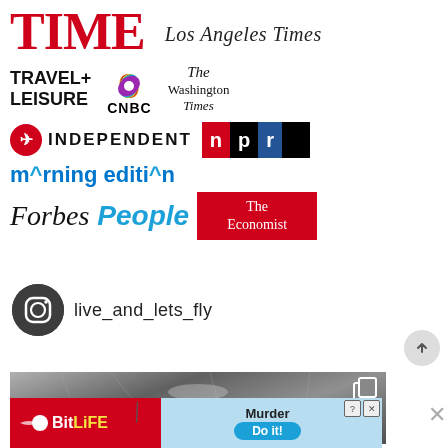[Figure (logo): Media outlet logos: TIME, Los Angeles Times, Travel+Leisure, CNBC, The Washington Times, Independent, NPR, Morning Edition, Forbes, People, The Economist]
live_and_lets_fly
[Figure (photo): Interior of an aircraft cabin viewed from below, showing ceiling panels and overhead bins in gray tones, with a copy icon overlay]
[Figure (infographic): BitLife advertisement banner: red left panel with BitLife logo, light blue right panel with Murder / Do it! options and close/help icons]